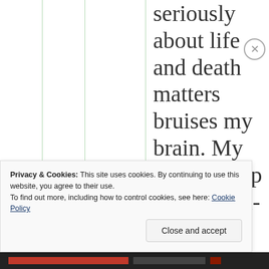seriously about life and death matters bruises my brain. My autobiography is a non-stop exercise in bruising my
Privacy & Cookies: This site uses cookies. By continuing to use this website, you agree to their use. To find out more, including how to control cookies, see here: Cookie Policy
Close and accept